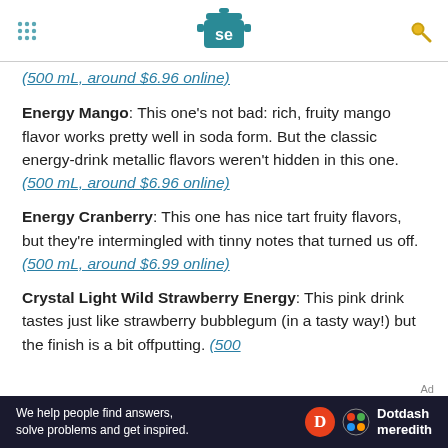Serious Eats header with logo
(500 mL, around $6.96 online)
Energy Mango: This one's not bad: rich, fruity mango flavor works pretty well in soda form. But the classic energy-drink metallic flavors weren't hidden in this one. (500 mL, around $6.96 online)
Energy Cranberry: This one has nice tart fruity flavors, but they're intermingled with tinny notes that turned us off. (500 mL, around $6.99 online)
Crystal Light Wild Strawberry Energy: This pink drink tastes just like strawberry bubblegum (in a tasty way!) but the finish is a bit offputting. (500